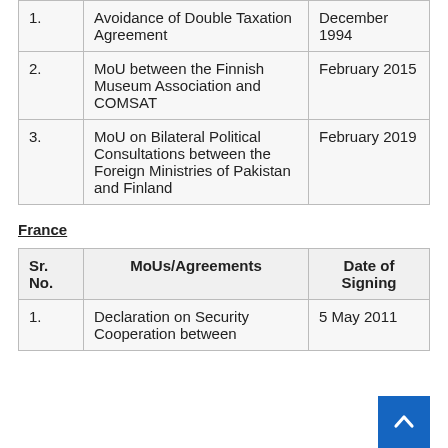| Sr. No. | MoUs/Agreements | Date of Signing |
| --- | --- | --- |
| 1. | Avoidance of Double Taxation Agreement | December 1994 |
| 2. | MoU between the Finnish Museum Association and COMSAT | February 2015 |
| 3. | MoU on Bilateral Political Consultations between the Foreign Ministries of Pakistan and Finland | February 2019 |
France
| Sr. No. | MoUs/Agreements | Date of Signing |
| --- | --- | --- |
| 1. | Declaration on Security Cooperation between | 5 May 2011 |